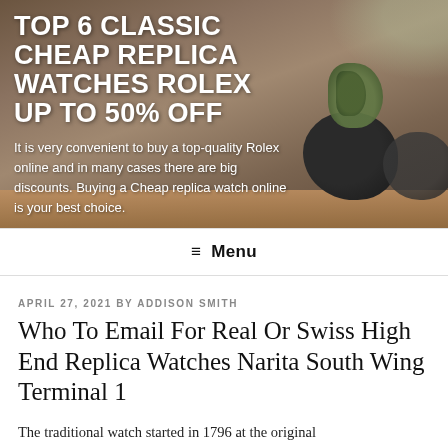[Figure (photo): Hero banner with background photo showing potted plants on a wooden table surface, overlaid with bold white title text and descriptive text.]
TOP 6 CLASSIC CHEAP REPLICA WATCHES ROLEX UP TO 50% OFF
It is very convenient to buy a top-quality Rolex online and in many cases there are big discounts. Buying a Cheap replica watch online is your best choice.
≡ Menu
APRIL 27, 2021 BY ADDISON SMITH
Who To Email For Real Or Swiss High End Replica Watches Narita South Wing Terminal 1
The traditional watch started in 1796 at the original